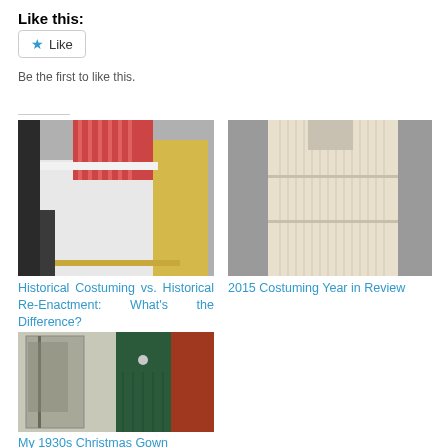Like this:
[Figure (screenshot): Like button widget with star icon and 'Be the first to like this.' text]
[Figure (photo): Historical costuming photo showing white petticoat/skirt with red striped top and yellow fabric]
[Figure (photo): 2015 costuming photo showing pleated ivory/cream period skirt on dress form, side view]
Historical Costuming vs. Historical Re-Enactment: What's the Difference?
2015 Costuming Year in Review
[Figure (photo): My 1930s Christmas Gown - split image showing window/door view and dark green velvet gown]
My 1930s Christmas Gown